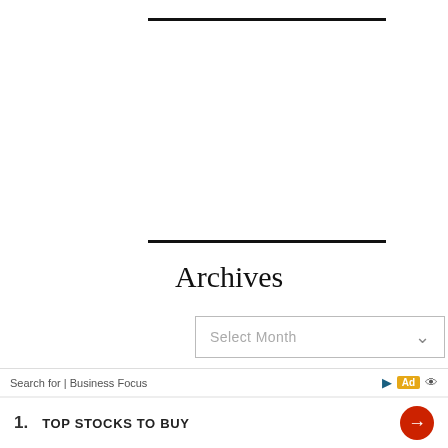Archives
[Figure (screenshot): Select Month dropdown box with grey border]
Latest Comments
Naman on Ballad Of A Nation's Debility: From Bōtale (Mirigama) To 5th Lane (Kollupitiya)
Search for | Business Focus  1. TOP STOCKS TO BUY